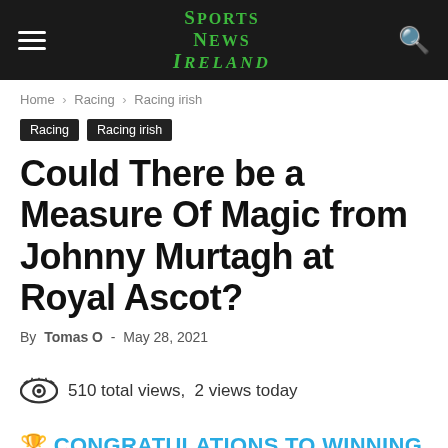Sports News Ireland
Home › Racing › Racing irish
Racing  Racing irish
Could There be a Measure Of Magic from Johnny Murtagh at Royal Ascot?
By Tomas O - May 28, 2021
510 total views, 2 views today
🏆 CONGRATULATIONS TO WINNING